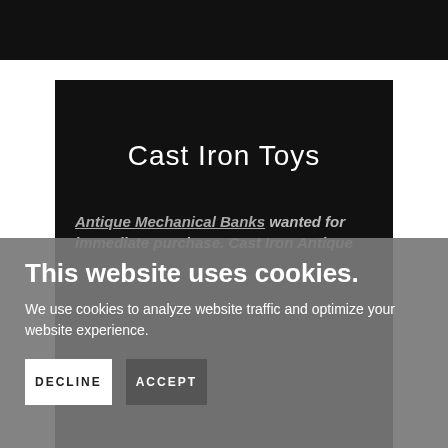[Figure (screenshot): Top black navigation/header bar of a website]
Cast Iron Toys
Antique Mechanical Banks wanted for immediate purchase. Cast Iron Antique
This website uses cookies.
We use cookies to analyze website traffic and optimize your website experience.
DECLINE
ACCEPT